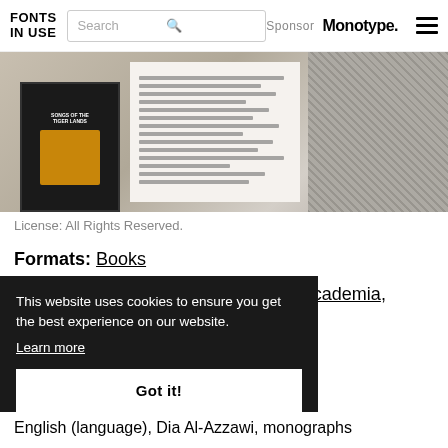FONTS IN USE | Search | Sponsor Monotype.
[Figure (photo): Photograph of open books and pages with Arabic text and illustrated covers, shown as a horizontal strip]
License: All Rights Reserved.
Formats: Books
Topics: Graphic Design, Education/Academia, Activism, Art, Politics
This website uses cookies to ensure you get the best experience on our website. Learn more Got it!
ijzen AbiFarès
eriors,
tilingual,
English (language), Dia Al-Azzawi, monographs